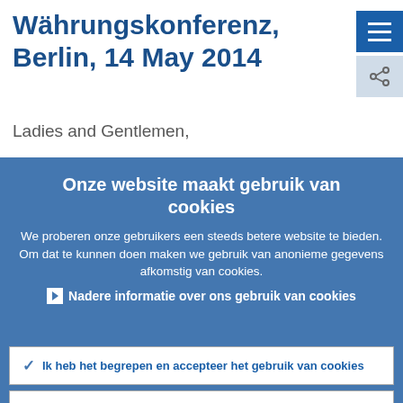Währungskonferenz, Berlin, 14 May 2014
Ladies and Gentlemen,
Onze website maakt gebruik van cookies
We proberen onze gebruikers een steeds betere website te bieden. Om dat te kunnen doen maken we gebruik van anonieme gegevens afkomstig van cookies.
› Nadere informatie over ons gebruik van cookies
✓ Ik heb het begrepen en accepteer het gebruik van cookies
× Ik weiger cookies